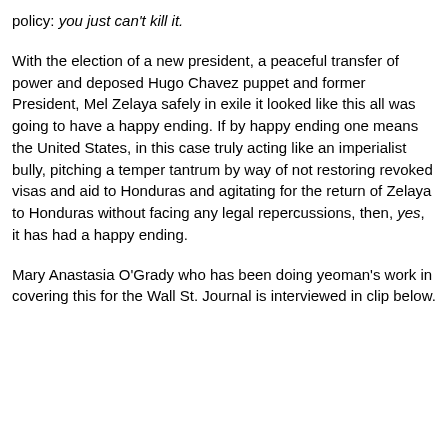policy: you just can't kill it.
With the election of a new president, a peaceful transfer of power and deposed Hugo Chavez puppet and former President, Mel Zelaya safely in exile it looked like this all was going to have a happy ending. If by happy ending one means the United States, in this case truly acting like an imperialist bully, pitching a temper tantrum by way of not restoring revoked visas and aid to Honduras and agitating for the return of Zelaya to Honduras without facing any legal repercussions, then, yes, it has had a happy ending.
Mary Anastasia O'Grady who has been doing yeoman's work in covering this for the Wall St. Journal is interviewed in clip below.